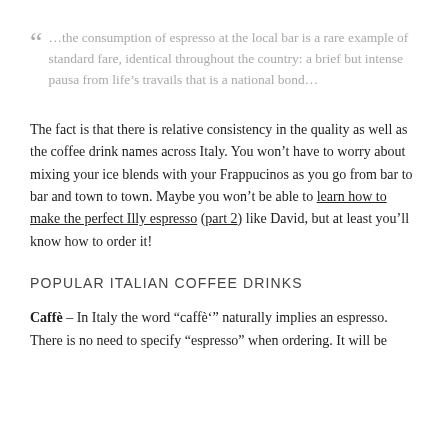“  …the consumption of espresso at the local bar is a rare example of standard fare, identical throughout the country: a brief but intense pausa from life’s travails that is a national bond…
The fact is that there is relative consistency in the quality as well as the coffee drink names across Italy. You won’t have to worry about mixing your ice blends with your Frappucinos as you go from bar to bar and town to town. Maybe you won’t be able to learn how to make the perfect Illy espresso (part 2) like David, but at least you’ll know how to order it!
POPULAR ITALIAN COFFEE DRINKS
Caffè – In Italy the word “caffè’” naturally implies an espresso. There is no need to specify “espresso” when ordering. It will be